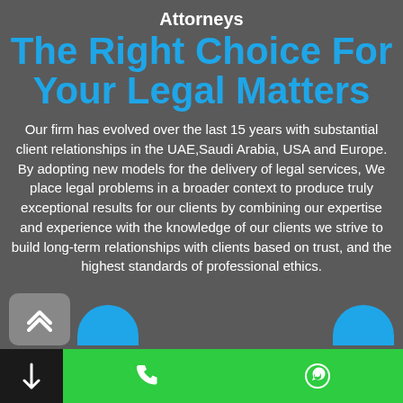Attorneys
The Right Choice For Your Legal Matters
Our firm has evolved over the last 15 years with substantial client relationships in the UAE,Saudi Arabia, USA and Europe. By adopting new models for the delivery of legal services, We place legal problems in a broader context to produce truly exceptional results for our clients by combining our expertise and experience with the knowledge of our clients we strive to build long-term relationships with clients based on trust, and the highest standards of professional ethics.